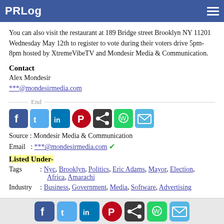PRLog
You can also visit the restaurant at 189 Bridge street Brooklyn NY 11201 Wednesday May 12th to register to vote during their voters drive 5pm-8pm hosted by XtremeVibeTV and Mondesir Media & Communication.
Contact
Alex Mondesir
***@mondesirmedia.com
End
[Figure (infographic): Social share icons: Facebook, Twitter, LinkedIn, Pinterest, Share, WhatsApp, Email]
Source : Mondesir Media & Communication
Email : ***@mondesirmedia.com ✓
Listed Under-
Tags : Nyc, Brooklyn, Politics, Eric Adams, Mayor, Election, Africa, Amarachi
Industry : Business, Government, Media, Software, Advertising
Social share icons footer: Facebook, Twitter, LinkedIn, Pinterest, Share, WhatsApp, Email